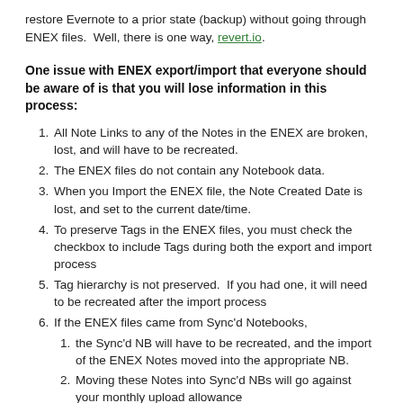restore Evernote to a prior state (backup) without going through ENEX files.  Well, there is one way, revert.io.
One issue with ENEX export/import that everyone should be aware of is that you will lose information in this process:
All Note Links to any of the Notes in the ENEX are broken, lost, and will have to be recreated.
The ENEX files do not contain any Notebook data.
When you Import the ENEX file, the Note Created Date is lost, and set to the current date/time.
To preserve Tags in the ENEX files, you must check the checkbox to include Tags during both the export and import process
Tag hierarchy is not preserved.  If you had one, it will need to be recreated after the import process
If the ENEX files came from Sync'd Notebooks,
the Sync'd NB will have to be recreated, and the import of the ENEX Notes moved into the appropriate NB.
Moving these Notes into Sync'd NBs will go against your monthly upload allowance